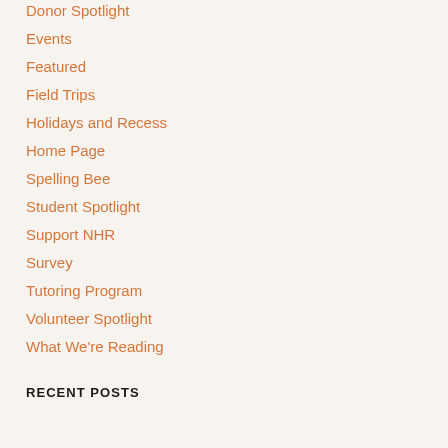Donor Spotlight
Events
Featured
Field Trips
Holidays and Recess
Home Page
Spelling Bee
Student Spotlight
Support NHR
Survey
Tutoring Program
Volunteer Spotlight
What We're Reading
RECENT POSTS